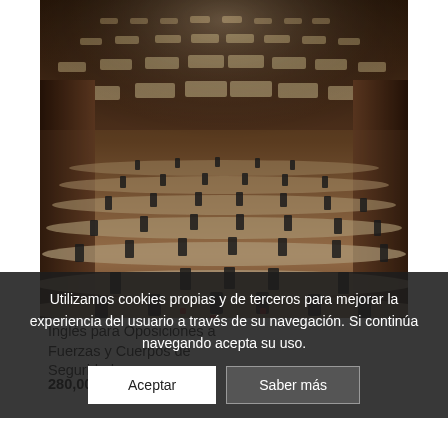[Figure (photo): Wide-angle fisheye photo of a large lecture hall or examination room with curved tiered seating rows. People wearing masks are seated spread apart at the desks. The ceiling has warm recessed lighting panels. The room has rich dark wood paneling on the walls and curved white/beige desk surfaces.]
Utilizamos cookies propias y de terceros para mejorar la experiencia del usuario a través de su navegación. Si continúa navegando acepta su uso.
Inglés para Oposiciones a Fuerzas y Cuerpos de Seguridad
280,00 € IVA